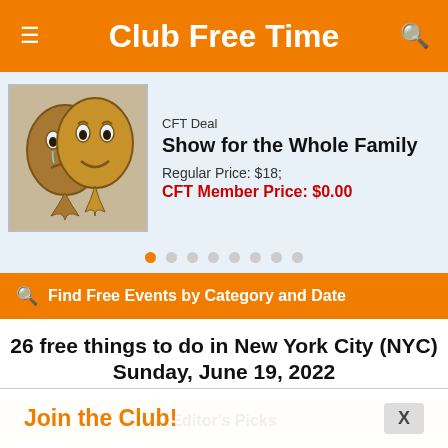Club Free Time
[Figure (illustration): Theater comedy and tragedy masks]
CFT Deal
Show for the Whole Family
Regular Price: $18;
CFT Member Price: $0.00
Find Free Events by Category and Date
26 free things to do in New York City (NYC) Sunday, June 19, 2022
Editor's Picks
The New York Philharmonic Musicians
Learn to Dance Like a Pro
Saint Joan: George Bernard Shaw's Classic Drama Performed Out
Join the Club!